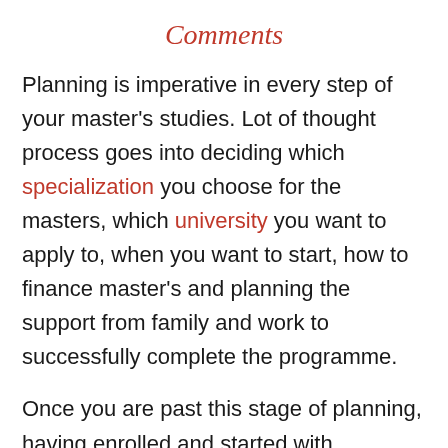Comments
Planning is imperative in every step of your master's studies. Lot of thought process goes into deciding which specialization you choose for the masters, which university you want to apply to, when you want to start, how to finance master's and planning the support from family and work to successfully complete the programme.
Once you are past this stage of planning, having enrolled and started with induction and how are the next stages of learning